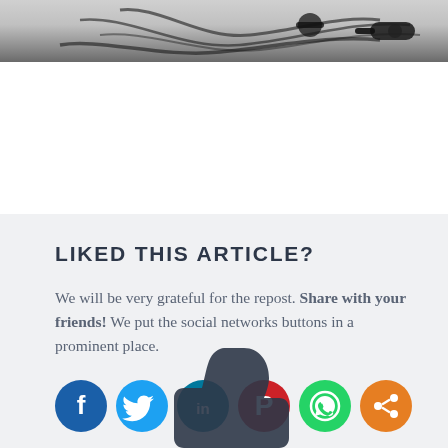[Figure (photo): Top portion of photo showing cables and earphones/headphones on a gray background]
LIKED THIS ARTICLE?
We will be very grateful for the repost. Share with your friends! We put the social networks buttons in a prominent place.
[Figure (illustration): Six social media share buttons: Facebook (dark blue), Twitter (light blue), LinkedIn (teal/blue), Pinterest (red), WhatsApp (green), Share (orange)]
[Figure (illustration): Dark thumbs-up like icon at the bottom of the page, partially visible]